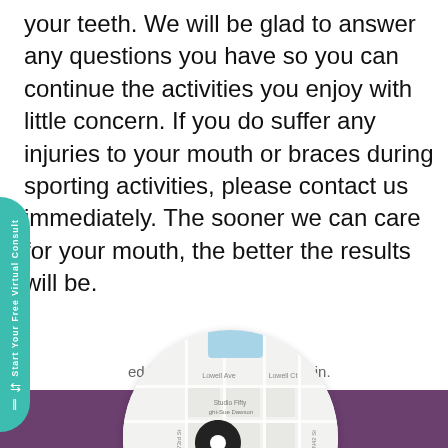your teeth. We will be glad to answer any questions you have so you can continue the activities you enjoy with little concern. If you do suffer any injuries to your mouth or braces during sporting activities, please contact us immediately. The sooner we can care for your mouth, the better the results will be.
ed in Uncategorized by admin.
[Figure (map): A circular map showing location pin at 4200 Lucile Dr, with street labels including Studio Fifty, Lowell Ave, Lowell Ct, Pioneers Blvd, on a white background within a circular frame, set against a dark purple background.]